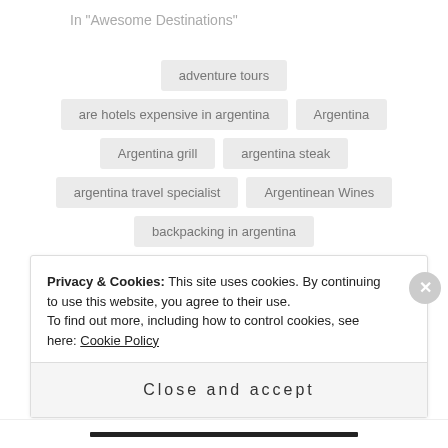In "Awesome Destinations"
adventure tours
are hotels expensive in argentina
Argentina
Argentina grill
argentina steak
argentina travel specialist
Argentinean Wines
backpacking in argentina
best destinations in south America
Privacy & Cookies: This site uses cookies. By continuing to use this website, you agree to their use.
To find out more, including how to control cookies, see here: Cookie Policy
Close and accept